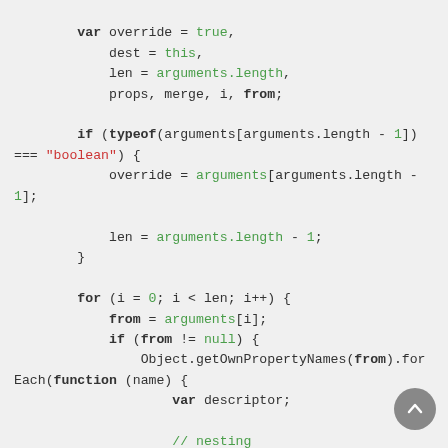var override = true,
    dest = this,
    len = arguments.length,
    props, merge, i, from;

    if (typeof(arguments[arguments.length - 1])
=== "boolean") {
            override = arguments[arguments.length -
1];

            len = arguments.length - 1;
    }

    for (i = 0; i < len; i++) {
        from = arguments[i];
        if (from != null) {
            Object.getOwnPropertyNames(from).forEach(function (name) {
                var descriptor;

                // nesting
                if ((typeof(dest[name]) === "object" || typeof(dest[name]) === "undefined")
                    && typeof(from[name]) ==
= "object") {